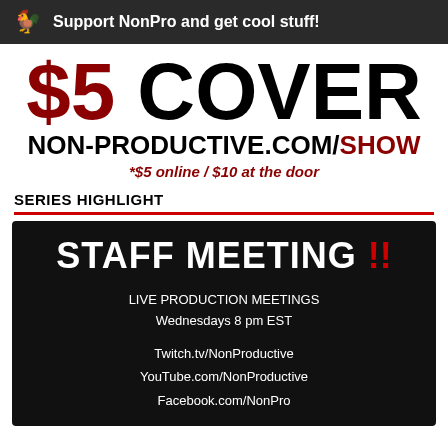Support NonPro and get cool stuff!
$5 COVER
NON-PRODUCTIVE.COM/SHOW
*$5 online / $10 at the door
SERIES HIGHLIGHT
[Figure (illustration): Black card with 'STAFF MEETING !!' in large white/red hand-lettered text, subtitle 'LIVE PRODUCTION MEETINGS Wednesdays 8 pm EST', and links: Twitch.tv/NonProductive, YouTube.com/NonProductive, Facebook.com/NonPro]